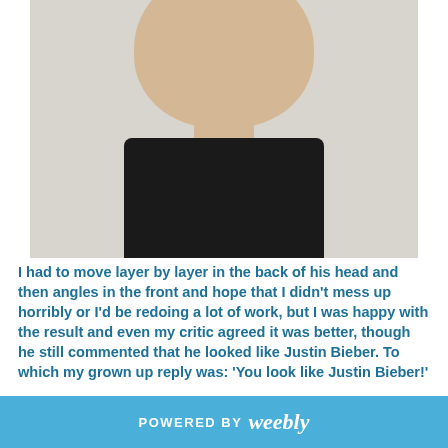[Figure (photo): A crocheted doll with a tan/beige head, green button eyes, brown hair on the sides, a small smile, wearing a black shirt. The doll is photographed against a light gray wall background.]
I had to move layer by layer in the back of his head and then angles in the front and hope that I didn't mess up horribly or I'd be redoing a lot of work, but I was happy with the result and even my critic agreed it was better, though he still commented that he looked like Justin Bieber. To which my grown up reply was: 'You look like Justin Bieber!'

To say I was pleased with the overall look (pics below) I really am and hope that my 4 year old
POWERED BY weebly